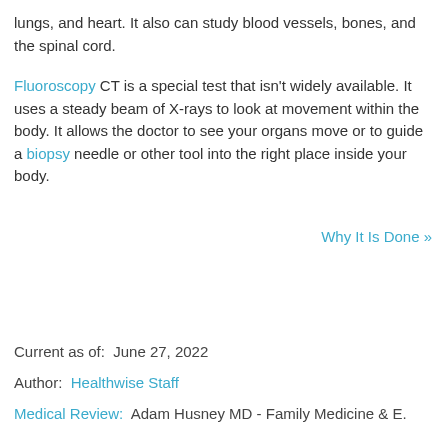lungs, and heart. It also can study blood vessels, bones, and the spinal cord.
Fluoroscopy CT is a special test that isn't widely available. It uses a steady beam of X-rays to look at movement within the body. It allows the doctor to see your organs move or to guide a biopsy needle or other tool into the right place inside your body.
Why It Is Done »
Current as of:  June 27, 2022
Author:  Healthwise Staff
Medical Review:  Adam Husney MD - Family Medicine & E.